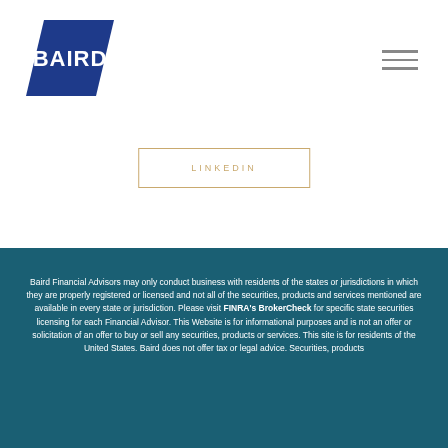[Figure (logo): Baird logo — white text 'BAIRD' on dark navy blue parallelogram/banner shape]
[Figure (other): Hamburger menu icon with three horizontal lines]
LINKEDIN
Baird Financial Advisors may only conduct business with residents of the states or jurisdictions in which they are properly registered or licensed and not all of the securities, products and services mentioned are available in every state or jurisdiction. Please visit FINRA's BrokerCheck for specific state securities licensing for each Financial Advisor. This Website is for informational purposes and is not an offer or solicitation of an offer to buy or sell any securities, products or services. This site is for residents of the United States. Baird does not offer tax or legal advice. Securities, products